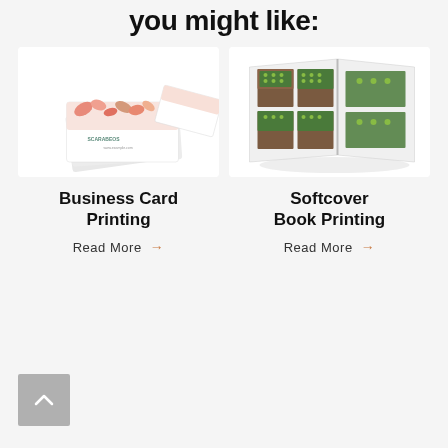More small printing products you might like:
[Figure (photo): Stack of business cards with colorful floral/geometric pattern design on top, fanned out slightly, product photo on white background]
[Figure (photo): Open softcover book showing inside pages with grid of green and brown photo prints, product photo on white background]
Business Card Printing
Read More →
Softcover Book Printing
Read More →